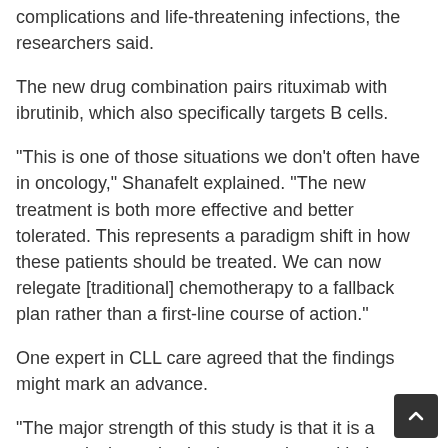complications and life-threatening infections, the researchers said.
The new drug combination pairs rituximab with ibrutinib, which also specifically targets B cells.
"This is one of those situations we don't often have in oncology," Shanafelt explained. "The new treatment is both more effective and better tolerated. This represents a paradigm shift in how these patients should be treated. We can now relegate [traditional] chemotherapy to a fallback plan rather than a first-line course of action."
One expert in CLL care agreed that the findings might mark an advance.
"The major strength of this study is that it is a prospectively randomized comparison with the 'chemo-immunotherapy' combination FCR, in a large sample size," said Dr. Kanti Rai. He's a hematologist with the CLL Research and Treatment Program at Northwell Health